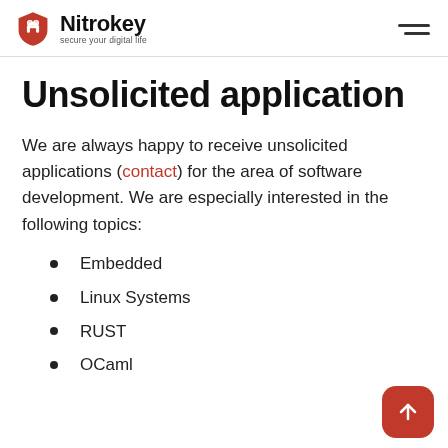Nitrokey — secure your digital life
Unsolicited application
We are always happy to receive unsolicited applications (contact) for the area of software development. We are especially interested in the following topics:
Embedded
Linux Systems
RUST
OCaml